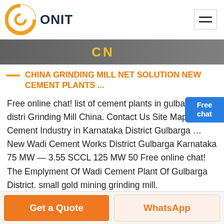ONIT
[Figure (photo): Grey industrial background with yellow 'CN' text painted on surface]
CHINA GRINDING MILL NET SOLUTION NEW CEMENT PLANTS ...
Free online chat! list of cement plants in gulbarga distri Grinding Mill China. Contact Us Site Map … Cement Industry in Karnataka District Gulbarga … New Wadi Cement Works District Gulbarga Karnataka 75 MW — 3.55 SCCL 125 MW 50 Free online chat! The Emplyment Of Wadi Cement Plant Of Gulbarga District. small gold mining grinding mill.
Get a Quote | WhatsApp